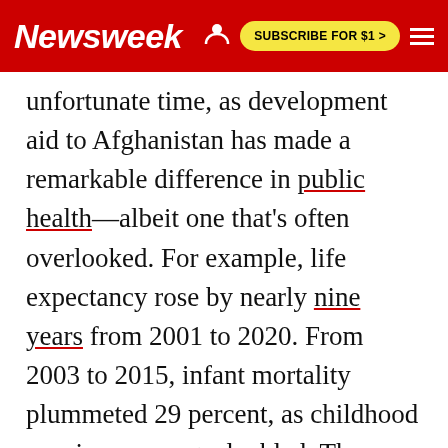Newsweek  SUBSCRIBE FOR $1 >
unfortunate time, as development aid to Afghanistan has made a remarkable difference in public health—albeit one that's often overlooked. For example, life expectancy rose by nearly nine years from 2001 to 2020. From 2003 to 2015, infant mortality plummeted 29 percent, as childhood vaccine coverage doubled. The construction of women's health clinics and increased antenatal care pointed towards a reduction in maternal mortality.